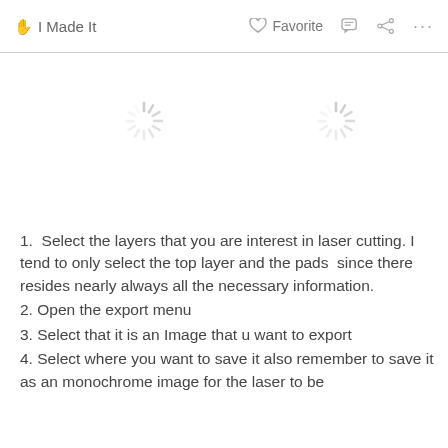I Made It   Favorite   ... ...
[Figure (other): Loading spinner icon, left side]
[Figure (other): Loading spinner icon, right side]
1.  Select the layers that you are interest in laser cutting. I tend to only select the top layer and the pads  since there resides nearly always all the necessary information.
2. Open the export menu
3. Select that it is an Image that u want to export
4. Select where you want to save it also remember to save it as an monochrome image for the laser to be